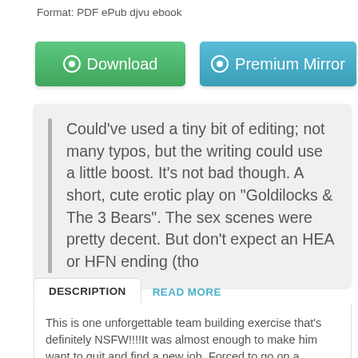Format: PDF ePub djvu ebook
[Figure (other): Green Download button and blue Premium Mirror button]
Could've used a tiny bit of editing; not many typos, but the writing could use a little boost. It's not bad though. A short, cute erotic play on "Goldilocks & The 3 Bears". The sex scenes were pretty decent. But don't expect an HEA or HFN ending (tho
DESCRIPTION
READ MORE
This is one unforgettable team building exercise that's definitely NSFW!!!!It was almost enough to make him want to quit and find a new job. Forced to go on a compulsory corporate morale event